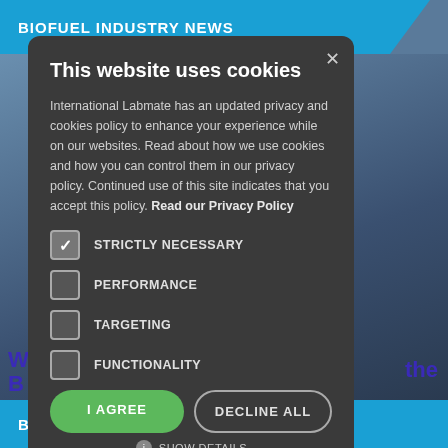BIOFUEL INDUSTRY NEWS
This website uses cookies
International Labmate has an updated privacy and cookies policy to enhance your experience while on our websites. Read about how we use cookies and how you can control them in our privacy policy. Continued use of this site indicates that you accept this policy. Read our Privacy Policy
STRICTLY NECESSARY
PERFORMANCE
TARGETING
FUNCTIONALITY
I AGREE
DECLINE ALL
SHOW DETAILS
BIOFUEL INDUSTRY NEWS